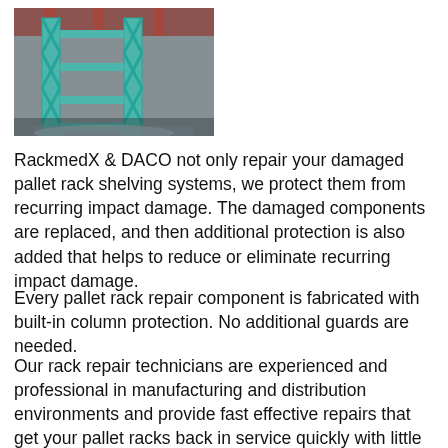[Figure (photo): Photo of green metal pallet rack shelving in a warehouse, showing vertical columns and horizontal beams with orange ceiling visible in background.]
RackmedX & DACO not only repair your damaged pallet rack shelving systems, we protect them from recurring impact damage. The damaged components are replaced, and then additional protection is also added that helps to reduce or eliminate recurring impact damage.
Every pallet rack repair component is fabricated with built-in column protection. No additional guards are needed.
Our rack repair technicians are experienced and professional in manufacturing and distribution environments and provide fast effective repairs that get your pallet racks back in service quickly with little or no interruption to your work flow.